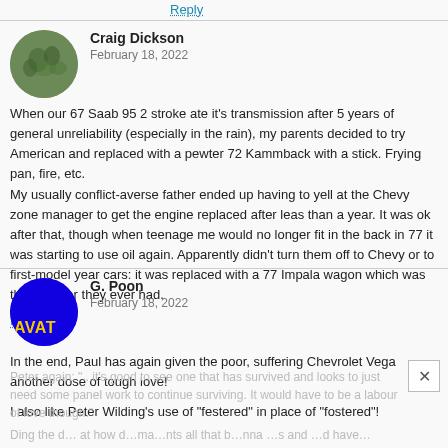Reply
Craig Dickson
February 18, 2022
When our 67 Saab 95 2 stroke ate it's transmission after 5 years of general unreliability (especially in the rain), my parents decided to try American and replaced with a pewter 72 Kammback with a stick. Frying pan, fire, etc.
My usually conflict-averse father ended up having to yell at the Chevy zone manager to get the engine replaced after leas than a year. It was ok after that, though when teenage me would no longer fit in the back in 77 it was starting to use oil again. Apparently didn't turn them off to Chevy or to first-model year cars: it was replaced with a 77 Impala wagon which was the best car they ever had.
Reply
G. Poon
February 18, 2022
In the end, Paul has again given the poor, suffering Chevrolet Vega another dose of tough love!
I also like Peter Wilding's use of "festered" in place of "fostered"!
Peter again: "...it's good to see one that has survived and looks to just need some panel work to continue surviving. It would have to be a labour of love though."